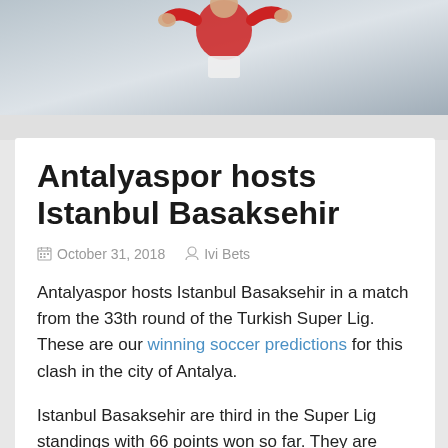[Figure (photo): Soccer player in red and white uniform against a light gray background, partial view showing torso and arm motion]
Antalyaspor hosts Istanbul Basaksehir
October 31, 2018  Ivi Bets
Antalyaspor hosts Istanbul Basaksehir in a match from the 33th round of the Turkish Super Lig. These are our winning soccer predictions for this clash in the city of Antalya.
Istanbul Basaksehir are third in the Super Lig standings with 66 points won so far. They are currently 3 points behind the leader Galatasaray and on par with the 2nd